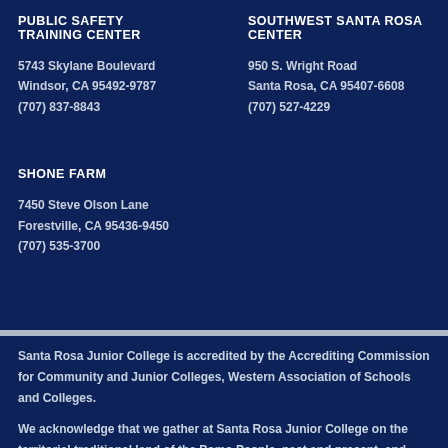PUBLIC SAFETY TRAINING CENTER
5743 Skylane Boulevard
Windsor, CA 95492-9787
(707) 837-8843
SOUTHWEST SANTA ROSA CENTER
950 S. Wright Road
Santa Rosa, CA 95407-6608
(707) 527-4229
SHONE FARM
7450 Steve Olson Lane
Forestville, CA 95436-9450
(707) 535-3700
Santa Rosa Junior College is accredited by the Accrediting Commission for Community and Junior Colleges, Western Association of Schools and Colleges.
We acknowledge that we gather at Santa Rosa Junior College on the territorial traditional land of the Pomo People, past and present, and honor with gratitude the